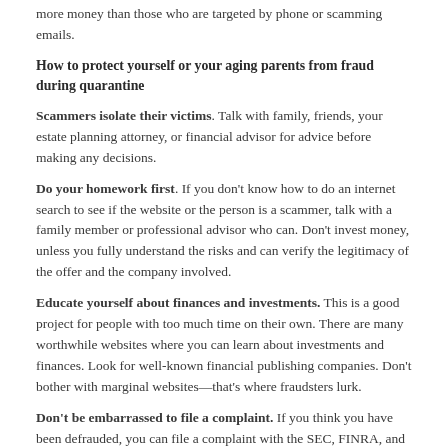more money than those who are targeted by phone or scamming emails.
How to protect yourself or your aging parents from fraud during quarantine
Scammers isolate their victims. Talk with family, friends, your estate planning attorney, or financial advisor for advice before making any decisions.
Do your homework first. If you don't know how to do an internet search to see if the website or the person is a scammer, talk with a family member or professional advisor who can. Don't invest money, unless you fully understand the risks and can verify the legitimacy of the offer and the company involved.
Educate yourself about finances and investments. This is a good project for people with too much time on their own. There are many worthwhile websites where you can learn about investments and finances. Look for well-known financial publishing companies. Don't bother with marginal websites—that's where fraudsters lurk.
Don't be embarrassed to file a complaint. If you think you have been defrauded, you can file a complaint with the SEC, FINRA, and your state securities regulator. Your estate planning attorney will also